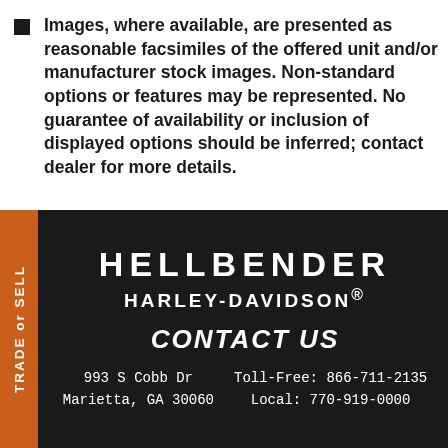Images, where available, are presented as reasonable facsimiles of the offered unit and/or manufacturer stock images. Non-standard options or features may be represented. No guarantee of availability or inclusion of displayed options should be inferred; contact dealer for more details.
HELLBENDER HARLEY-DAVIDSON®
CONTACT US
993 S Cobb Dr
Marietta, GA 30060
Toll-Free: 866-711-2135
Local: 770-919-0000